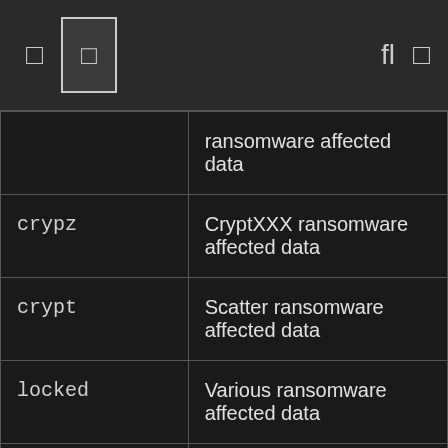Navigation toolbar with icons
| Extension | Description |
| --- | --- |
|  | ransomware affected data |
| crypz | CryptXXX ransomware affected data |
| crypt | Scatter ransomware affected data |
| locked | Various ransomware affected data |
| odin | Locky ransomware affected file |
| ccc | TeslaCrypt / Cryptowall encrypted data |